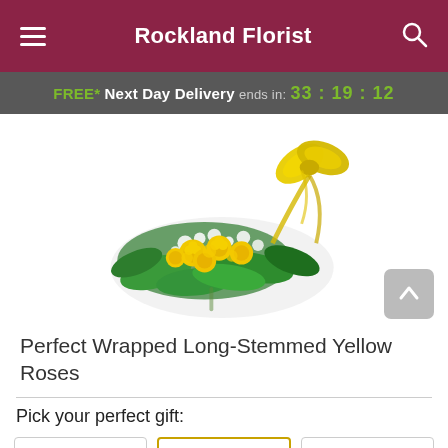Rockland Florist
FREE* Next Day Delivery ends in: 33:19:12
[Figure (photo): A bouquet of yellow long-stemmed roses with white baby's breath and green foliage, wrapped in white paper with a large yellow ribbon bow on top, on a white background.]
Perfect Wrapped Long-Stemmed Yellow Roses
Pick your perfect gift: